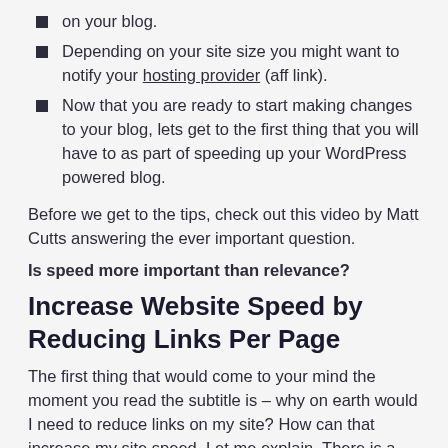on your blog.
Depending on your site size you might want to notify your hosting provider (aff link).
Now that you are ready to start making changes to your blog, lets get to the first thing that you will have to as part of speeding up your WordPress powered blog.
Before we get to the tips, check out this video by Matt Cutts answering the ever important question.
Is speed more important than relevance?
Increase Website Speed by Reducing Links Per Page
The first thing that would come to your mind the moment you read the subtitle is – why on earth would I need to reduce links on my site? How can that increase my site speed. Let me explain. There is a concept called Text To